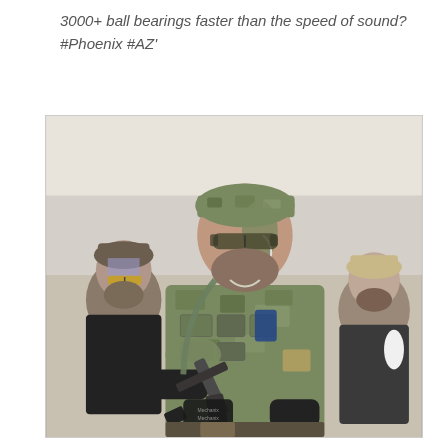3000+ ball bearings faster than the speed of sound? #Phoenix #AZ'
[Figure (photo): A heavily built man in camouflage military-style gear, wearing a camouflage bandana/cap, sunglasses, and tactical vest, holding a rifle. He is surrounded by other people in a crowd, some also in military-style clothing. The setting appears to be an outdoor rally or protest.]